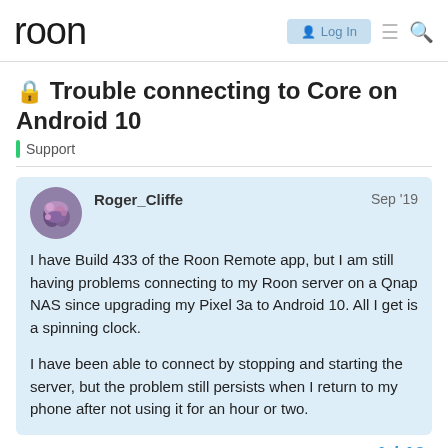roon | Log In
🔒 Trouble connecting to Core on Android 10
Support
Roger_Cliffe  Sep '19
I have Build 433 of the Roon Remote app, but I am still having problems connecting to my Roon server on a Qnap NAS since upgrading my Pixel 3a to Android 10. All I get is a spinning clock.
I have been able to connect by stopping and starting the server, but the problem still persists when I return to my phone after not using it for an hour or two.
1 / 19